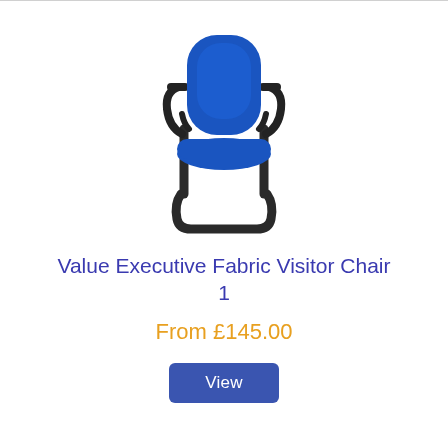[Figure (photo): Blue executive fabric visitor chair with black sled base and black armrests, viewed from a slight angle.]
Value Executive Fabric Visitor Chair 1
From £145.00
View